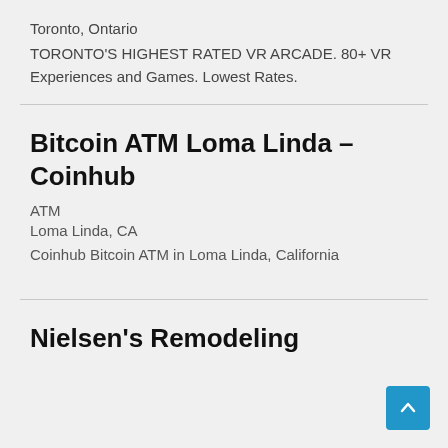Toronto, Ontario
TORONTO'S HIGHEST RATED VR ARCADE. 80+ VR Experiences and Games. Lowest Rates.
Bitcoin ATM Loma Linda – Coinhub
ATM
Loma Linda, CA
Coinhub Bitcoin ATM in Loma Linda, California
Nielsen's Remodeling